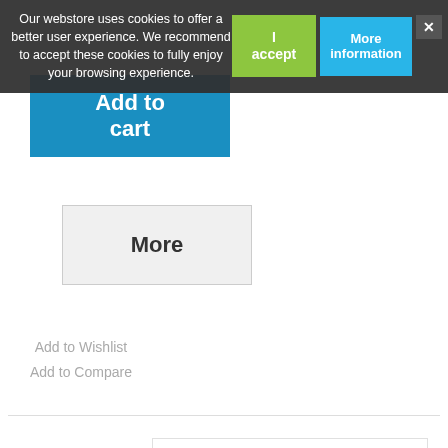Our webstore uses cookies to offer a better user experience. We recommend to accept these cookies to fully enjoy your browsing experience.
I accept
More information
Add to cart
More
Add to Wishlist
Add to Compare
[Figure (photo): A short black cable with a connector on one end and a ring terminal on the other end, photographed on a white background.]